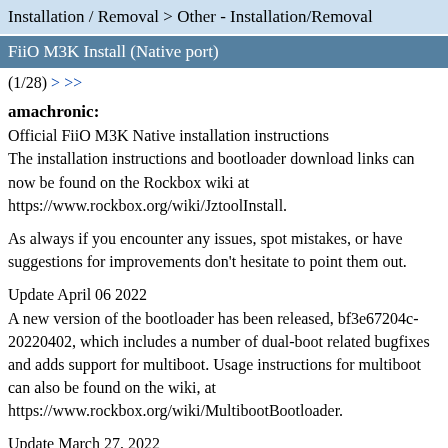Installation / Removal > Other - Installation/Removal
FiiO M3K Install (Native port)
(1/28) > >>
amachronic:
Official FiiO M3K Native installation instructions
The installation instructions and bootloader download links can now be found on the Rockbox wiki at https://www.rockbox.org/wiki/JztoolInstall.
As always if you encounter any issues, spot mistakes, or have suggestions for improvements don't hesitate to point them out.
Update April 06 2022
A new version of the bootloader has been released, bf3e67204c-20220402, which includes a number of dual-boot related bugfixes and adds support for multiboot. Usage instructions for multiboot can also be found on the wiki, at https://www.rockbox.org/wiki/MultibootBootloader.
Update March 27, 2022
The M3K install instructions have now moved to the wiki:
https://www.rockbox.org/wiki/JztoolInstall